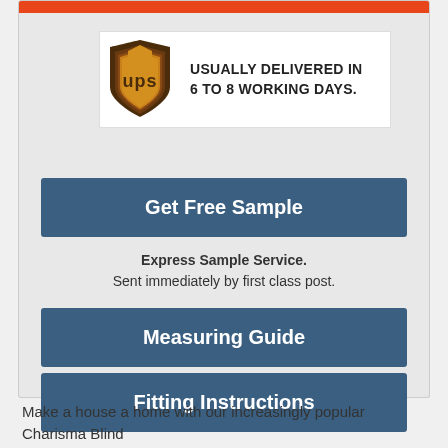[Figure (logo): UPS shield logo with text USUALLY DELIVERED IN 6 TO 8 WORKING DAYS.]
Get Free Sample
Express Sample Service.
Sent immediately by first class post.
Measuring Guide
Fitting Instructions
Make a house a home with our increasingly popular Charisma Blind